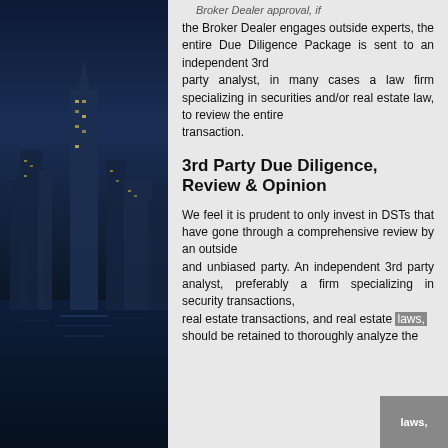[Figure (photo): Nighttime cityscape with illuminated skyscrapers and dark blue tones on the left column of the page.]
Broker Dealer approval, if the Broker Dealer engages outside experts, the entire Due Diligence Package is sent to an independent 3rd party analyst, in many cases a law firm specializing in securities and/or real estate law, to review the entire transaction.
3rd Party Due Diligence, Review & Opinion
We feel it is prudent to only invest in DSTs that have gone through a comprehensive review by an outside and unbiased party. An independent 3rd party analyst, preferably a firm specializing in security transactions, real estate transactions, and real estate laws, should be retained to thoroughly analyze the